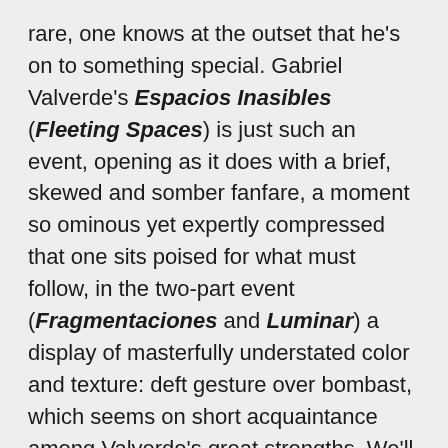rare, one knows at the outset that he's on to something special. Gabriel Valverde's Espacios Inasibles (Fleeting Spaces) is just such an event, opening as it does with a brief, skewed and somber fanfare, a moment so ominous yet expertly compressed that one sits poised for what must follow, in the two-part event (Fragmentaciones and Luminar) a display of masterfully understated color and texture: deft gesture over bombast, which seems on short acquaintance among Valverde's great strengths. We'll return to the composer as soon as we discharge a few redundant thoughts on the means and meaning of discovery.
Fact: a recording of new music introduces the listener to compositions and performances he'd likely not otherwise hear, and it also instructs. Fact Two (and if any more occur in the course of these remarks, I'll wedge them into